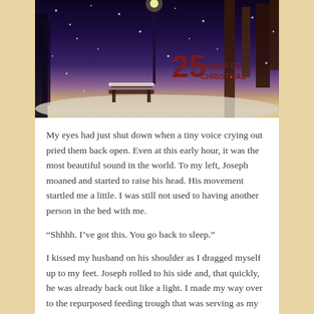[Figure (photo): Snowy winter park scene at night with a bench and trees covered in snow, with the text '25 SONGS OF CHRISTMAS' overlaid in the lower right corner]
My eyes had just shut down when a tiny voice crying out pried them back open. Even at this early hour, it was the most beautiful sound in the world. To my left, Joseph moaned and started to raise his head. His movement startled me a little. I was still not used to having another person in the bed with me.
“Shhhh. I’ve got this. You go back to sleep."
I kissed my husband on his shoulder as I dragged myself up to my feet. Joseph rolled to his side and, that quickly, he was already back out like a light. I made my way over to the repurposed feeding trough that was serving as my baby's crib. I wanted to reach out and pick him up, but for a second, I just